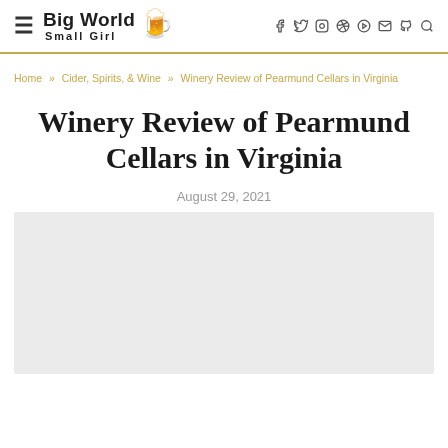Big World Small Girl — navigation header with social icons
Home » Cider, Spirits, & Wine » Winery Review of Pearmund Cellars in Virginia
Winery Review of Pearmund Cellars in Virginia
August 29, 2021
[Figure (photo): Placeholder image area for the article photo (light gray rectangle)]